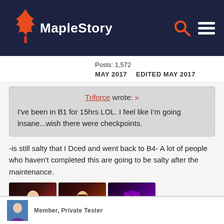MapleStory
Posts: 1,572
MAY 2017   EDITED MAY 2017
Triforce wrote: »

I've been in B1 for 15hrs LOL. I feel like I'm going insane...wish there were checkpoints.
-is still salty that I Dced and went back to B4- A lot of people who haven't completed this are going to be salty after the maintenance.
[Figure (photo): Three game character avatar emoji images side by side]
Member, Private Tester